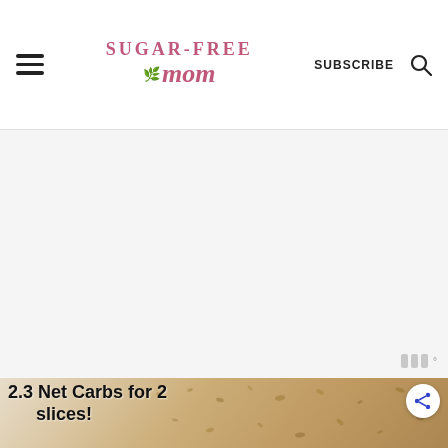Sugar-Free Mom | SUBSCRIBE
[Figure (other): Advertisement placeholder area, light gray background with Moat watermark logo in bottom right corner]
[Figure (photo): Seeded low-carb bread loaf sliced on a wooden cutting board, with text overlay '2.3 Net Carbs for 2 slices!' in bold black font, and a share button in top right corner]
[Figure (other): Bottom advertisement banner: Visit Premium Outlets® Leesburg Premium Outlets, with Premium Outlets logo and navigation arrow icon, and Moat watermark on dark right side]